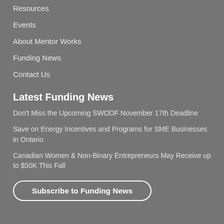Resources
Events
About Mentor Works
Funding News
Contact Us
Latest Funding News
Don't Miss the Upcoming SWODF November 17th Deadline
Save on Energy Incentives and Programs for SME Businesses in Ontario
Canadian Women & Non-Binary Entrepreneurs May Receive up to $50K This Fall
Subscribe to Funding News